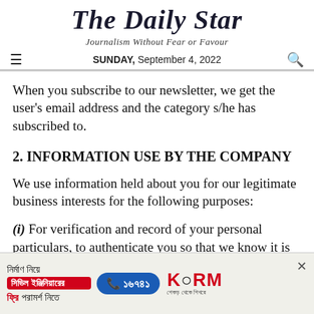The Daily Star
Journalism Without Fear or Favour
SUNDAY, September 4, 2022
When you subscribe to our newsletter, we get the user's email address and the category s/he has subscribed to.
2. INFORMATION USE BY THE COMPANY
We use information held about you for our legitimate business interests for the following purposes:
(i) For verification and record of your personal particulars, to authenticate you so that we know it is
[Figure (other): Advertisement banner for KSRM civil engineering consultation service with Bengali text and phone number 16741]